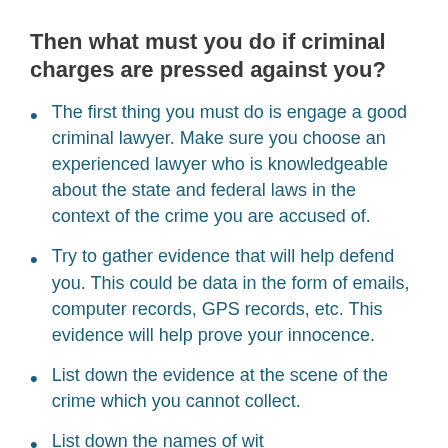Then what must you do if criminal charges are pressed against you?
The first thing you must do is engage a good criminal lawyer. Make sure you choose an experienced lawyer who is knowledgeable about the state and federal laws in the context of the crime you are accused of.
Try to gather evidence that will help defend you. This could be data in the form of emails, computer records, GPS records, etc. This evidence will help prove your innocence.
List down the evidence at the scene of the crime which you cannot collect.
List down the names of witnesses and...